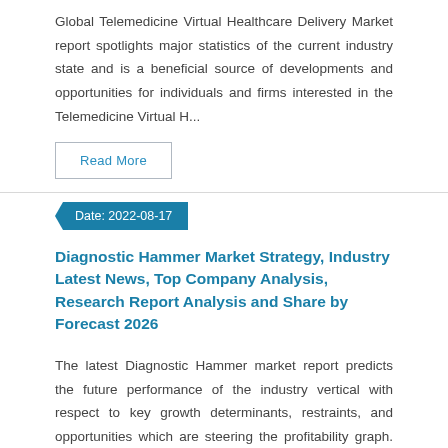Global Telemedicine Virtual Healthcare Delivery Market report spotlights major statistics of the current industry state and is a beneficial source of developments and opportunities for individuals and firms interested in the Telemedicine Virtual H...
Read More
Date: 2022-08-17
Diagnostic Hammer Market Strategy, Industry Latest News, Top Company Analysis, Research Report Analysis and Share by Forecast 2026
The latest Diagnostic Hammer market report predicts the future performance of the industry vertical with respect to key growth determinants, restraints, and opportunities which are steering the profitability graph. According to expert analysts, the...
Read More